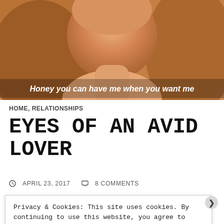[Figure (photo): Woman with wavy hair, styled portrait photo used as hero image for blog post. Text overlay reads: Honey you can have me when you want me]
Honey you can have me when you want me
HOME, RELATIONSHIPS
EYES OF AN AVID LOVER
APRIL 23, 2017   8 COMMENTS
Privacy & Cookies: This site uses cookies. By continuing to use this website, you agree to their use.
To find out more, including how to control cookies, see here:
Cookie Policy
Close and accept